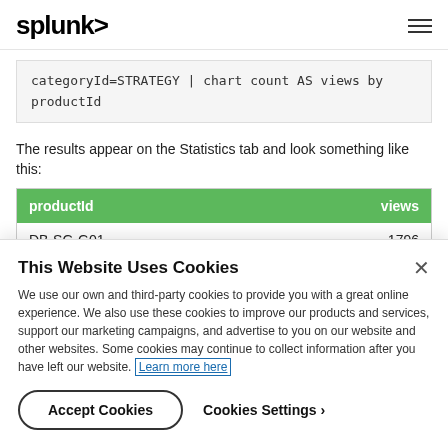splunk>
categoryId=STRATEGY | chart count AS views by productId
The results appear on the Statistics tab and look something like this:
| productId | views |
| --- | --- |
| DB-SG-G01 | 1796 |
| DB-SG-G02 | 1040 |
This Website Uses Cookies
We use our own and third-party cookies to provide you with a great online experience. We also use these cookies to improve our products and services, support our marketing campaigns, and advertise to you on our website and other websites. Some cookies may continue to collect information after you have left our website. Learn more here
Accept Cookies   Cookies Settings ›